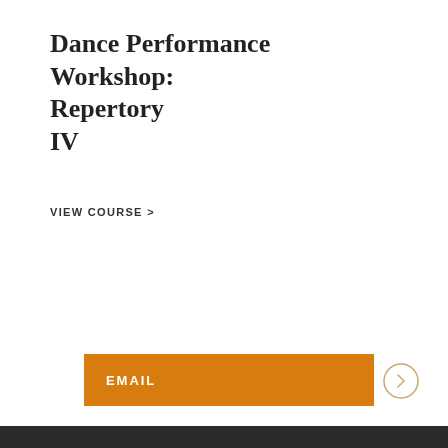Dance Performance Workshop: Repertory IV
VIEW COURSE >
EMAIL